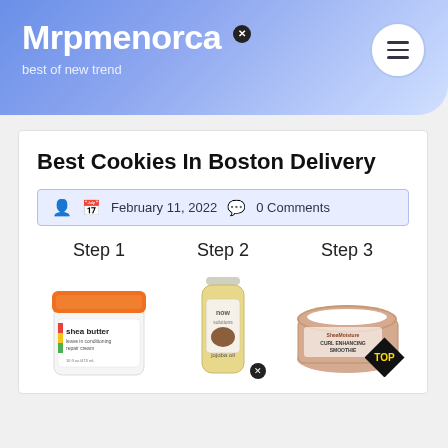Mrpmenorca — best of new trend
Best Cookies In Boston Delivery
February 11, 2022   0 Comments
[Figure (photo): Step 1 — jar of shea butter leave-in conditioning repair cream, 16 fl oz / 473 mL]
[Figure (photo): Step 2 — bottle of Now Solutions jojoba oil, with close button overlay]
[Figure (photo): Step 3 — jar of SheaMoisture Curl Enhancing Smoothie with TOP diamond badge overlay]